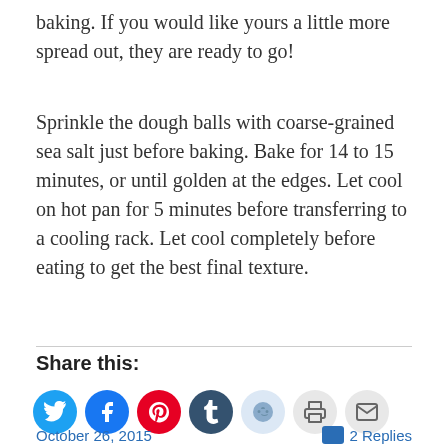baking. If you would like yours a little more spread out, they are ready to go!
Sprinkle the dough balls with coarse-grained sea salt just before baking. Bake for 14 to 15 minutes, or until golden at the edges. Let cool on hot pan for 5 minutes before transferring to a cooling rack. Let cool completely before eating to get the best final texture.
Share this:
[Figure (infographic): Row of social sharing icon buttons: Twitter (blue), Facebook (blue), Pinterest (red), Tumblr (dark blue), Reddit (light blue), Print (light gray), Email (light gray)]
Loading...
October 26, 2015   2 Replies